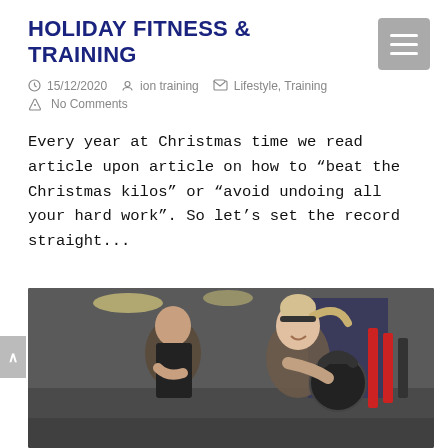HOLIDAY FITNESS & TRAINING
15/12/2020   ion training   Lifestyle, Training
No Comments
Every year at Christmas time we read article upon article on how to “beat the Christmas kilos” or “avoid undoing all your hard work”. So let’s set the record straight...
Read More
[Figure (photo): Two women in a gym, one smiling and holding a kettlebell, another standing behind her. Gym equipment visible in background.]